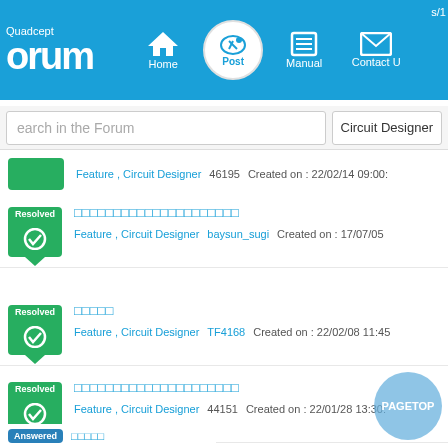Quadcept Forum — Home | Post | Manual | Contact Us
Search in the Forum | Circuit Designer
Feature , Circuit Designer   46195   Created on : 22/02/14 09:00:
[Japanese text] Feature , Circuit Designer   baysun_sugi   Created on : 17/07/05
[Japanese text] Feature , Circuit Designer   TF4168   Created on : 22/02/08 11:45
[Japanese text] Feature , Circuit Designer   44151   Created on : 22/01/28 13:30:
Answered [Japanese text]